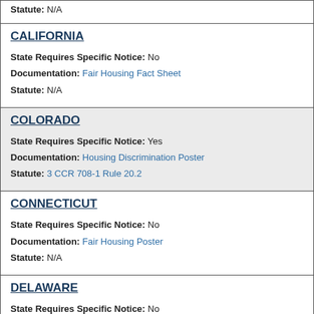Statute: N/A
CALIFORNIA
State Requires Specific Notice: No
Documentation: Fair Housing Fact Sheet
Statute: N/A
COLORADO
State Requires Specific Notice: Yes
Documentation: Housing Discrimination Poster
Statute: 3 CCR 708-1 Rule 20.2
CONNECTICUT
State Requires Specific Notice: No
Documentation: Fair Housing Poster
Statute: N/A
DELAWARE
State Requires Specific Notice: No